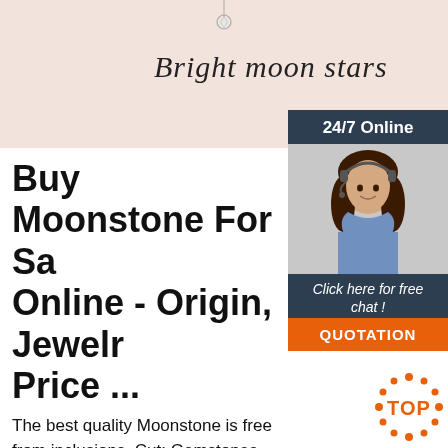[Figure (illustration): Header banner with cream/peach background, a jewelry pendant at top center, and cursive brand name 'Bright moon stars']
Buy Moonstone For Sale Online - Origin, Jewelry, Price ...
The best quality Moonstone is free from inclusions. Cut: Gemstones are cut to improve their aesthetics. Moonstone is commonly cut as a cabochon and displays a phenomenal color. When cut as a cabochon, the dimensions should be uniform and it should not be flat in shape. Very flat
[Figure (illustration): 24/7 Online chat widget with dark navy background, photo of female customer service agent wearing headset, 'Click here for free chat!' text and orange QUOTATION button]
[Figure (illustration): Orange 'TOP' icon with dot pattern in bottom right corner]